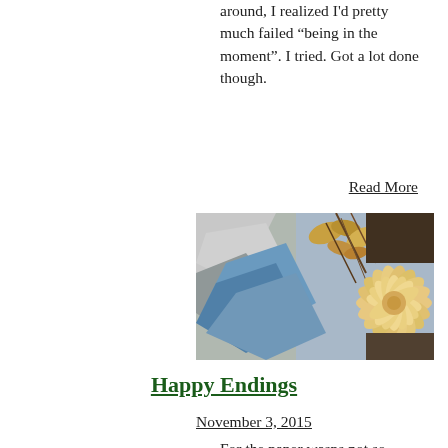around, I realized I'd pretty much failed “being in the moment”. I tried. Got a lot done though.
Read More
[Figure (photo): A nature photograph showing rocky surface with blue water, dry leaves and stems, and a large pale orange/yellow dahlia flower on the right side.]
Happy Endings
November 3, 2015
For the paper wasps not so much. A happy ending to the growing season for the dahlia tubers- ready to come inside. That’s one of their dahlias on the